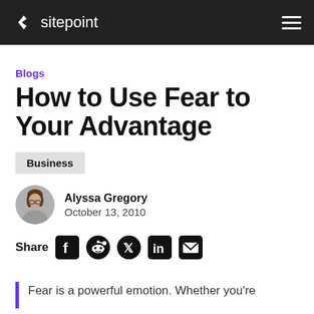sitepoint
Blogs
How to Use Fear to Your Advantage
Business
Alyssa Gregory
October 13, 2010
Share
Fear is a powerful emotion. Whether you're